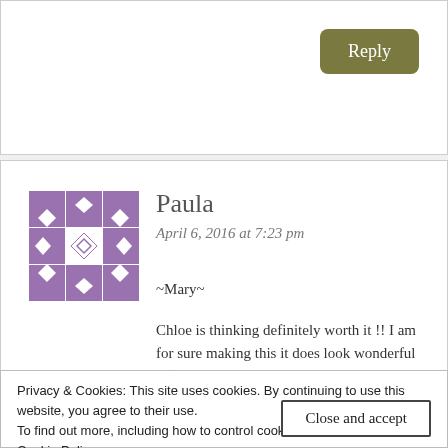[Figure (other): Reply button - olive/dark green rounded rectangle button with white text 'Reply']
[Figure (other): Purple geometric avatar/gravatar icon with diamond and cross pattern]
Paula
April 6, 2016 at 7:23 pm
~Mary~
Chloe is thinking definitely worth it !! I am for sure making this it does look wonderful !! :)
Paula – IN
Privacy & Cookies: This site uses cookies. By continuing to use this website, you agree to their use.
To find out more, including how to control cookies, see here:
Cookie Policy
Close and accept